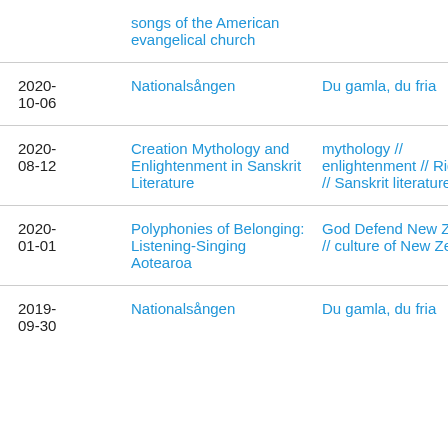| Date | Title | Subjects |
| --- | --- | --- |
|  | songs of the American evangelical church |  |
| 2020-10-06 | Nationalsången | Du gamla, du fria |
| 2020-08-12 | Creation Mythology and Enlightenment in Sanskrit Literature | mythology // enlightenment // Rigveda // Sanskrit literature |
| 2020-01-01 | Polyphonies of Belonging: Listening-Singing Aotearoa | God Defend New Zealand // culture of New Zealand |
| 2019-09-30 | Nationalsången | Du gamla, du fria |